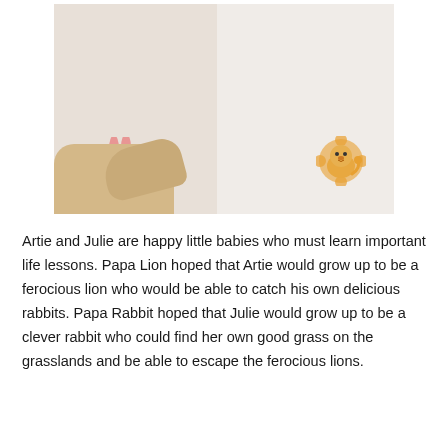[Figure (photo): A dog's paws resting on an open children's book showing illustrated pages with a rabbit and a lion character. The book is open on what appears to be a carpeted floor.]
Artie and Julie are happy little babies who must learn important life lessons. Papa Lion hoped that Artie would grow up to be a ferocious lion who would be able to catch his own delicious rabbits. Papa Rabbit hoped that Julie would grow up to be a clever rabbit who could find her own good grass on the grasslands and be able to escape the ferocious lions.